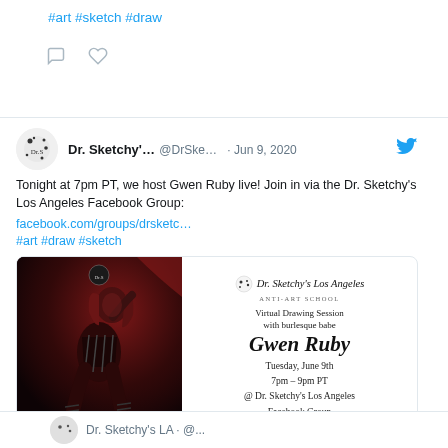#art #sketch #draw
[Figure (screenshot): Twitter/social media screenshot showing a tweet from Dr. Sketchy's Los Angeles account dated Jun 9, 2020, announcing a virtual drawing session with Gwen Ruby at 7pm PT via Facebook Group, with an event flyer image showing a burlesque performer and event details.]
Tonight at 7pm PT, we host Gwen Ruby live! Join in via the Dr. Sketchy's Los Angeles Facebook Group:
facebook.com/groups/drsketc…
#art #draw #sketch